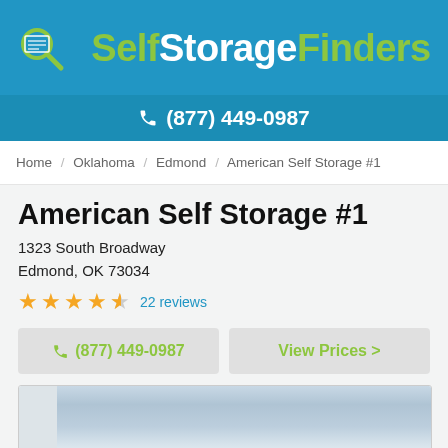[Figure (logo): SelfStorageFinders logo with magnifying glass and document icon, green and white text on blue background]
(877) 449-0987
Home / Oklahoma / Edmond / American Self Storage #1
American Self Storage #1
1323 South Broadway
Edmond, OK 73034
★★★★½ 22 reviews
(877) 449-0987
View Prices >
[Figure (photo): Exterior photo of storage facility, overcast sky]